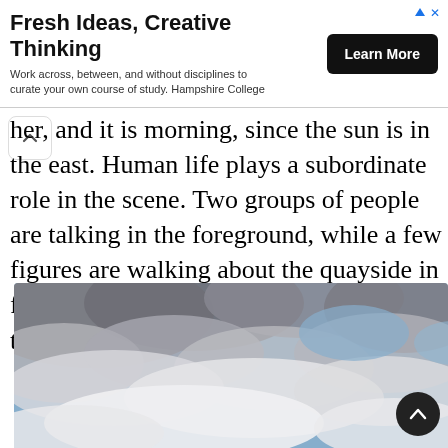[Figure (infographic): Advertisement banner: 'Fresh Ideas, Creative Thinking' with subtext 'Work across, between, and without disciplines to curate your own course of study. Hampshire College' and a 'Learn More' black button. Blue arrow/X icons top right.]
her, and it is morning, since the sun is in the east. Human life plays a subordinate role in the scene. Two groups of people are talking in the foreground, while a few figures are walking about the quayside in front of Schiedam Gate, almost too small to be discernible.
[Figure (photo): A sky scene showing blue sky with dramatic gray and white cumulus clouds.]